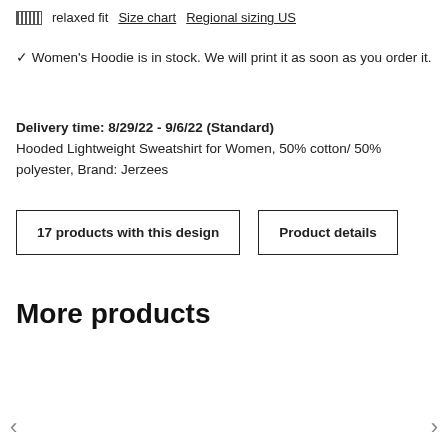relaxed fit  Size chart  Regional sizing US
✓ Women's Hoodie is in stock. We will print it as soon as you order it.
Delivery time: 8/29/22 - 9/6/22 (Standard)
Hooded Lightweight Sweatshirt for Women, 50% cotton/ 50% polyester, Brand: Jerzees
17 products with this design
Product details
More products